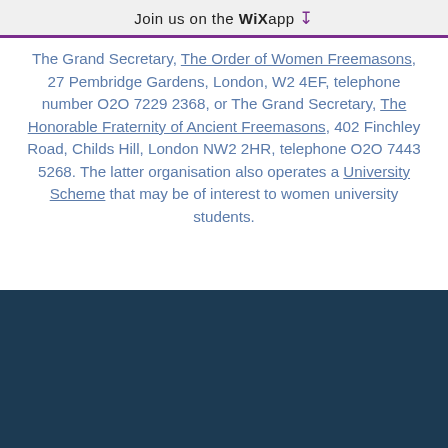Join us on the WiX app ⬇
The Grand Secretary, The Order of Women Freemasons, 27 Pembridge Gardens, London, W2 4EF, telephone number 020 7229 2368, or The Grand Secretary, The Honorable Fraternity of Ancient Freemasons, 402 Finchley Road, Childs Hill, London NW2 2HR, telephone 020 7443 5268. The latter organisation also operates a University Scheme that may be of interest to women university students.
[Figure (other): Dark navy blue footer banner area]